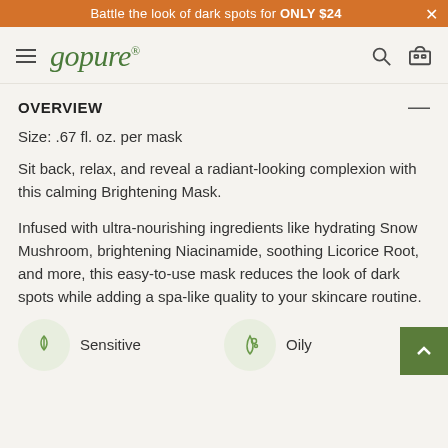Battle the look of dark spots for ONLY $24
[Figure (logo): gopure brand logo with hamburger menu, search icon, and cart icon]
OVERVIEW
Size: .67 fl. oz. per mask
Sit back, relax, and reveal a radiant-looking complexion with this calming Brightening Mask.
Infused with ultra-nourishing ingredients like hydrating Snow Mushroom, brightening Niacinamide, soothing Licorice Root, and more, this easy-to-use mask reduces the look of dark spots while adding a spa-like quality to your skincare routine.
Sensitive
Oily